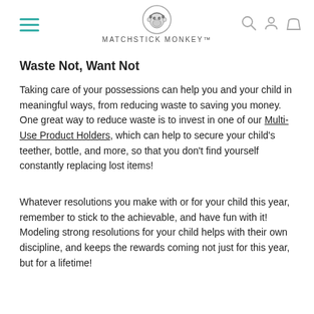MATCHSTICK MONKEY™
Waste Not, Want Not
Taking care of your possessions can help you and your child in meaningful ways, from reducing waste to saving you money. One great way to reduce waste is to invest in one of our Multi-Use Product Holders, which can help to secure your child's teether, bottle, and more, so that you don't find yourself constantly replacing lost items!
Whatever resolutions you make with or for your child this year, remember to stick to the achievable, and have fun with it! Modeling strong resolutions for your child helps with their own discipline, and keeps the rewards coming not just for this year, but for a lifetime!